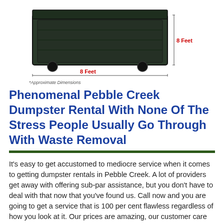[Figure (photo): Photo of a dark green/black dumpster with red dimension annotations showing '8 Feet' for height on the right side and '8 Feet' for width/length on the front bottom. Below the image is italic text reading '*Approximate Dimensions'.]
Phenomenal Pebble Creek Dumpster Rental With None Of The Stress People Usually Go Through With Waste Removal
It's easy to get accustomed to mediocre service when it comes to getting dumpster rentals in Pebble Creek. A lot of providers get away with offering sub-par assistance, but you don't have to deal with that now that you've found us. Call now and you are going to get a service that is 100 per cent flawless regardless of how you look at it. Our prices are amazing, our customer care reps are truly remarkable and we've never had a late delivery in your area. We can tend even to the most demanding of projects and we can do it while maintaining our trademark efficiency. This is, by far, the best dumpster rental Pebble Creek can offer at this moment.